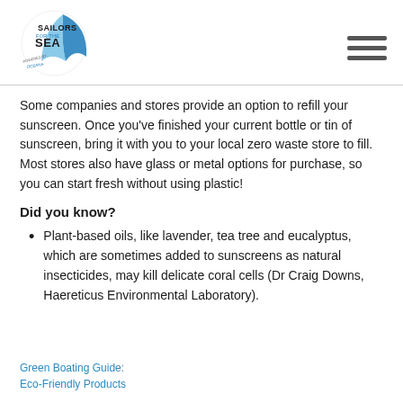[Figure (logo): Sailors for the Sea logo - circular emblem with blue wave and text 'SAILORS FOR THE SEA POWERED BY OCEANA']
Some companies and stores provide an option to refill your sunscreen. Once you've finished your current bottle or tin of sunscreen, bring it with you to your local zero waste store to fill. Most stores also have glass or metal options for purchase, so you can start fresh without using plastic!
Did you know?
Plant-based oils, like lavender, tea tree and eucalyptus, which are sometimes added to sunscreens as natural insecticides, may kill delicate coral cells (Dr Craig Downs, Haereticus Environmental Laboratory).
Green Boating Guide:
Eco-Friendly Products